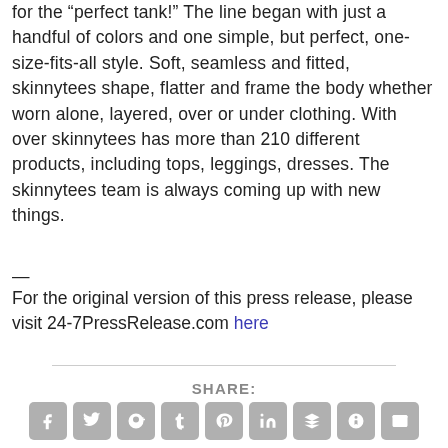for the “perfect tank!” The line began with just a handful of colors and one simple, but perfect, one-size-fits-all style. Soft, seamless and fitted, skinnytees shape, flatter and frame the body whether worn alone, layered, over or under clothing. With over skinnytees has more than 210 different products, including tops, leggings, dresses. The skinnytees team is always coming up with new things.
—
For the original version of this press release, please visit 24-7PressRelease.com here
SHARE:
[Figure (other): Row of 9 social media sharing icon buttons (Facebook, Twitter, Google+, Tumblr, Pinterest, LinkedIn, Buffer, StumbleUpon, Email) in grey rounded square buttons]